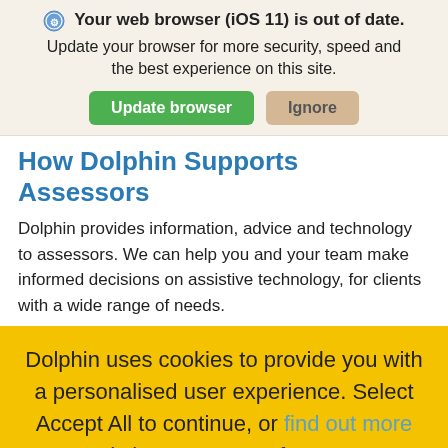⚙ Your web browser (iOS 11) is out of date. Update your browser for more security, speed and the best experience on this site.
[Figure (screenshot): Two buttons: 'Update browser' (green) and 'Ignore' (tan/beige)]
How Dolphin Supports Assessors
Dolphin provides information, advice and technology to assessors. We can help you and your team make informed decisions on assistive technology, for clients with a wide range of needs.
Dolphin uses cookies to provide you with a personalised user experience. Select Accept All to continue, or find out more and choose your preferences.
[Figure (screenshot): Accept All button (white, rounded pill shape)]